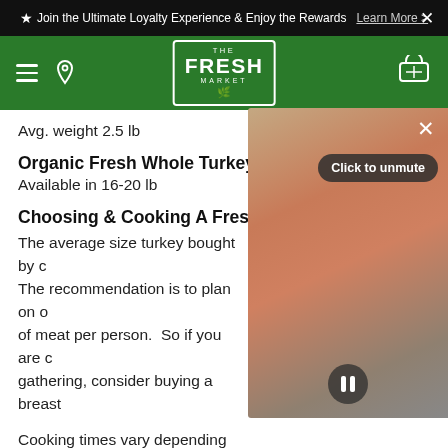★ Join the Ultimate Loyalty Experience & Enjoy the Rewards  Learn More >  ✕
[Figure (logo): The Fresh Market logo on green navigation bar with hamburger menu, location pin, and cart icons]
Avg. weight 2.5 lb
Organic Fresh Whole Turkey
Available in 16-20 lb
Choosing & Cooking A Fresh Turkey
The average size turkey bought by customers is 16 lb. The recommendation is to plan on one pound of meat per person. So if you are cooking for a large gathering, consider buying a breast instead.
Cooking times vary depending on whether you stuff your bird, but the general rule is 15 minutes per pound, so a 16-pound bird can take 4 hours at 325 degrees. The key is to cook it until your thermometer registers 165° (take temp
[Figure (screenshot): Video overlay showing a blurred warm-toned cooking video with close button, 'Click to unmute' button, and pause control]